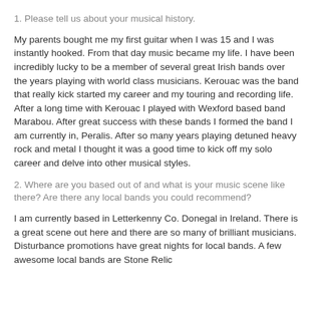1. Please tell us about your musical history.
My parents bought me my first guitar when I was 15 and I was instantly hooked. From that day music became my life. I have been incredibly lucky to be a member of several great Irish bands over the years playing with world class musicians. Kerouac was the band that really kick started my career and my touring and recording life. After a long time with Kerouac I played with Wexford based band Marabou. After great success with these bands I formed the band I am currently in, Peralis. After so many years playing detuned heavy rock and metal I thought it was a good time to kick off my solo career and delve into other musical styles.
2. Where are you based out of and what is your music scene like there? Are there any local bands you could recommend?
I am currently based in Letterkenny Co. Donegal in Ireland. There is a great scene out here and there are so many of brilliant musicians. Disturbance promotions have great nights for local bands. A few awesome local bands are Stone Relic